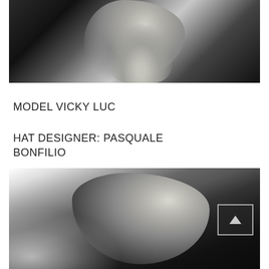[Figure (photo): Black and white close-up photograph showing a person's body from behind/side with rope or strap details, against a dark brick wall background]
MODEL VICKY LUC
HAT DESIGNER: PASQUALE BONFILIO
[Figure (photo): Black and white portrait photograph of a woman with long dark hair looking upward with eyes closed, wearing a fur-collar garment, with misty/foggy background. A back-to-top navigation button with upward chevron arrow is overlaid in the lower right corner.]